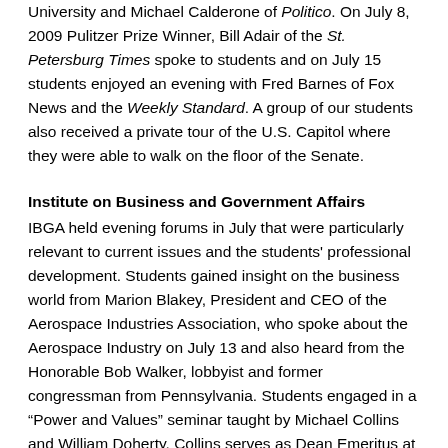University and Michael Calderone of Politico. On July 8, 2009 Pulitzer Prize Winner, Bill Adair of the St. Petersburg Times spoke to students and on July 15 students enjoyed an evening with Fred Barnes of Fox News and the Weekly Standard. A group of our students also received a private tour of the U.S. Capitol where they were able to walk on the floor of the Senate.
Institute on Business and Government Affairs
IBGA held evening forums in July that were particularly relevant to current issues and the students' professional development. Students gained insight on the business world from Marion Blakey, President and CEO of the Aerospace Industries Association, who spoke about the Aerospace Industry on July 13 and also heard from the Honorable Bob Walker, lobbyist and former congressman from Pennsylvania. Students engaged in a “Power and Values” seminar taught by Michael Collins and William Doherty. Collins serves as Dean Emeritus at Georgetown University while Doherty works at the Government Accountability Office. The seminar was designed to help the students better